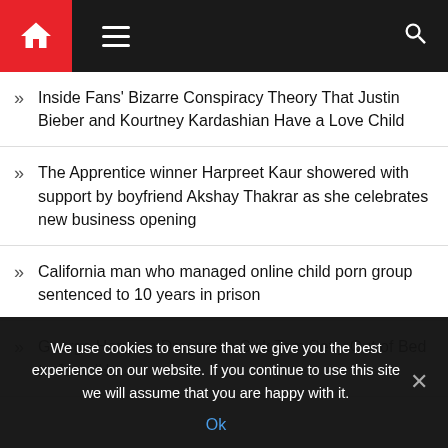Navigation bar with home icon, hamburger menu, and search icon
Inside Fans' Bizarre Conspiracy Theory That Justin Bieber and Kourtney Kardashian Have a Love Child
The Apprentice winner Harpreet Kaur showered with support by boyfriend Akshay Thakrar as she celebrates new business opening
California man who managed online child porn group sentenced to 10 years in prison
George Harrison Dragged a Sick Tom Petty Out of Bed to Jam: 'He
We use cookies to ensure that we give you the best experience on our website. If you continue to use this site we will assume that you are happy with it.
Ok